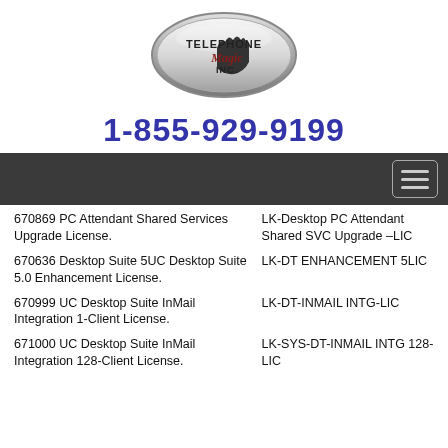[Figure (logo): Telephone Magic Inc. oval logo with hand silhouette]
1-855-929-9199
670869 PC Attendant Shared Services Upgrade License. | LK-Desktop PC Attendant Shared SVC Upgrade –LIC
670636 Desktop Suite 5UC Desktop Suite 5.0 Enhancement License. | LK-DT ENHANCEMENT 5LIC
670999 UC Desktop Suite InMail Integration 1-Client License. | LK-DT-INMAIL INTG-LIC
671000 UC Desktop Suite InMail Integration 128-Client License. | LK-SYS-DT-INMAIL INTG 128-LIC